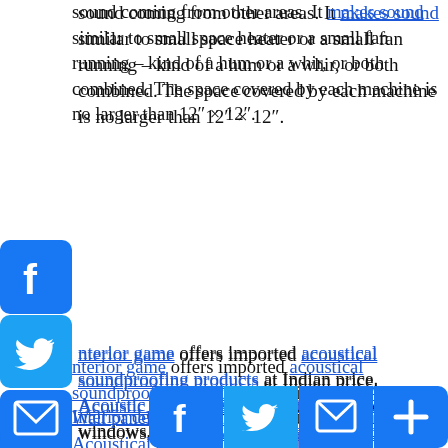sound coming from other areas. It makes sound similar to small space heater or a small fan running – kind of a hum or a whir, or both combined. The space covered by each machine is no larger than 12″ × 12″.
Interior game offers imported acoustical soundproofing products at Indian price. Acoustic Wall panels, Acoustic doors, Acoustic windows, Acoustical curtains, Acoustical furniture, Acoustic paints, Acoustical fabric, Acoustical surfaces, Soundproofing technology, Soundproofing experts, free consultation on soundproofing etc.
Interior designing, interiors, Lighting, source, interior decoration, Living room